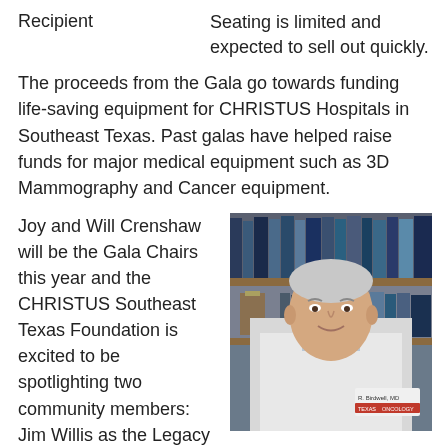Recipient
Seating is limited and expected to sell out quickly.
The proceeds from the Gala go towards funding life-saving equipment for CHRISTUS Hospitals in Southeast Texas. Past galas have helped raise funds for major medical equipment such as 3D Mammography and Cancer equipment.
Joy and Will Crenshaw will be the Gala Chairs this year and the CHRISTUS Southeast Texas Foundation is excited to be spotlighting two community members: Jim Willis as the Legacy Award Recipient and Dr. Robert Birdwell for
[Figure (photo): Portrait photo of Dr. Robert Birdwell, MD, wearing a white lab coat with a Texas Oncology badge, standing in front of a bookshelf filled with books.]